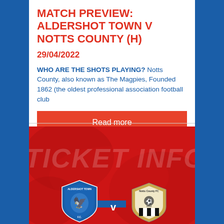MATCH PREVIEW: ALDERSHOT TOWN V NOTTS COUNTY (H)
29/04/2022
WHO ARE THE SHOTS PLAYING? Notts County, also known as The Magpies, Founded 1862 (the oldest professional association football club
Read more
[Figure (illustration): Ticket info promotional image with red background, 'TICKET INFO' text watermark, Aldershot Town FC badge and Notts County FC badge with a 'v' between them]